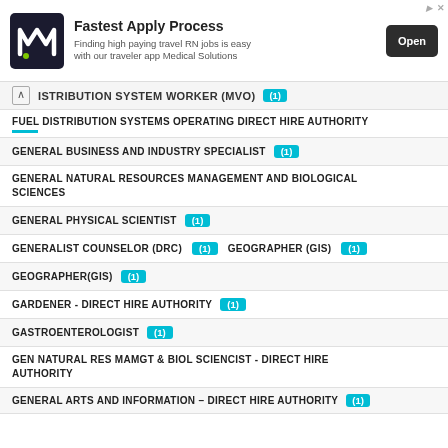[Figure (other): Advertisement banner for Medical Solutions travel RN jobs with logo, headline 'Fastest Apply Process', subtext and Open button]
DISTRIBUTION SYSTEM WORKER (MVO) (1)
FUEL DISTRIBUTION SYSTEMS OPERATING DIRECT HIRE AUTHORITY
GENERAL BUSINESS AND INDUSTRY SPECIALIST (1)
GENERAL NATURAL RESOURCES MANAGEMENT AND BIOLOGICAL SCIENCES
GENERAL PHYSICAL SCIENTIST (1)
GENERALIST COUNSELOR (DRC) (1)  GEOGRAPHER (GIS) (1)
GEOGRAPHER(GIS) (1)
GARDENER - DIRECT HIRE AUTHORITY (1)
GASTROENTEROLOGIST (1)
GEN NATURAL RES MAMGT & BIOL SCIENCIST - DIRECT HIRE AUTHORITY
GENERAL ARTS AND INFORMATION - DIRECT HIRE AUTHORITY (1)